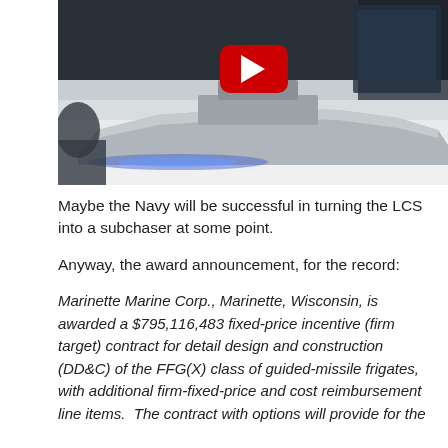[Figure (photo): Video thumbnail showing a naval ship model display with a YouTube play button overlay. The image shows a sleek ship model on a white surface with blue lighting underneath, against a dark background. A person is partially visible on the left side.]
Maybe the Navy will be successful in turning the LCS into a subchaser at some point.
Anyway, the award announcement, for the record:
Marinette Marine Corp., Marinette, Wisconsin, is awarded a $795,116,483 fixed-price incentive (firm target) contract for detail design and construction (DD&C) of the FFG(X) class of guided-missile frigates, with additional firm-fixed-price and cost reimbursement line items.  The contract with options will provide for the